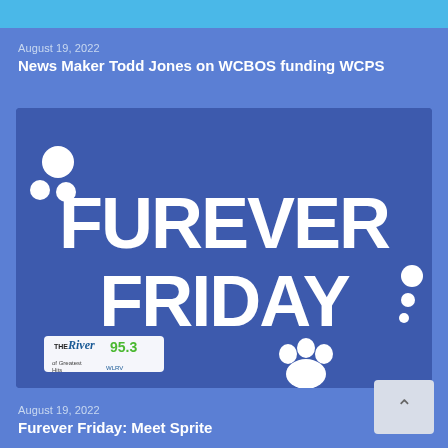August 19, 2022
News Maker Todd Jones on WCBOS funding WCPS
[Figure (illustration): Furever Friday promotional graphic with white bubble text on a blue background, showing 'FUREVER FRIDAY' in large rounded letters, decorative dots, a paw print icon, and The River 95.3 radio station logo]
August 19, 2022
Furever Friday: Meet Sprite